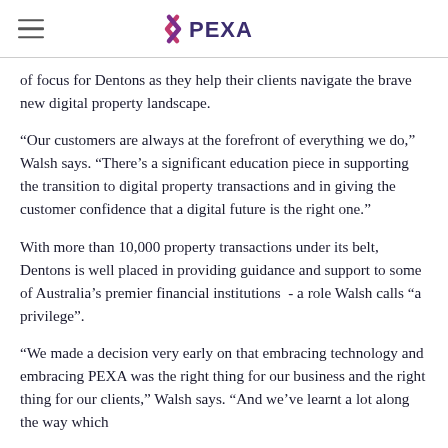PEXA
of focus for Dentons as they help their clients navigate the brave new digital property landscape.
“Our customers are always at the forefront of everything we do,” Walsh says. “There’s a significant education piece in supporting the transition to digital property transactions and in giving the customer confidence that a digital future is the right one.”
With more than 10,000 property transactions under its belt, Dentons is well placed in providing guidance and support to some of Australia’s premier financial institutions  - a role Walsh calls “a privilege”.
“We made a decision very early on that embracing technology and embracing PEXA was the right thing for our business and the right thing for our clients,” Walsh says. “And we’ve learnt a lot along the way which